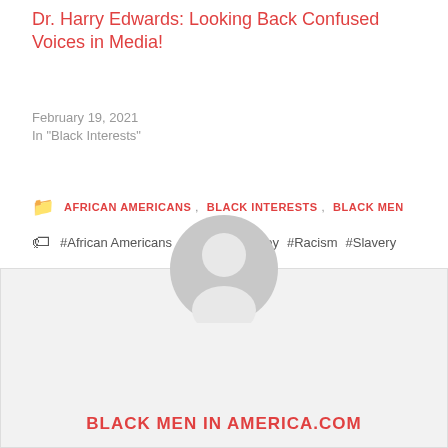Dr. Harry Edwards: Looking Back Confused Voices in Media!
February 19, 2021
In "Black Interests"
AFRICAN AMERICANS  BLACK INTERESTS  BLACK MEN
#African Americans  #Charles Barkley  #Racism  #Slavery
[Figure (infographic): Social share buttons: Facebook (blue), Twitter (light blue), Google+ (red-orange), Pinterest (dark red), LinkedIn (blue); comment button with count 3 (red)]
[Figure (photo): Default avatar circle with person silhouette, gray background]
BLACK MEN IN AMERICA.COM